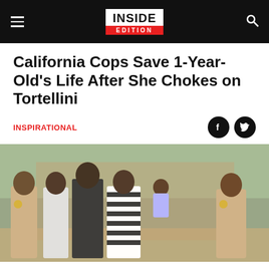INSIDE EDITION
California Cops Save 1-Year-Old's Life After She Chokes on Tortellini
INSPIRATIONAL
[Figure (photo): Group photo of two police officers in tan uniforms standing with a family including a woman holding a small child, outdoors in front of a brick wall]